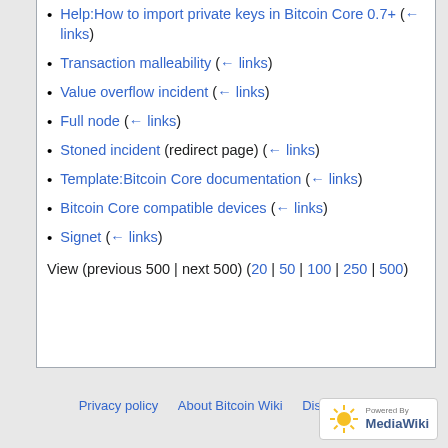Help:How to import private keys in Bitcoin Core 0.7+  (← links)
Transaction malleability  (← links)
Value overflow incident  (← links)
Full node  (← links)
Stoned incident (redirect page)  (← links)
Template:Bitcoin Core documentation  (← links)
Bitcoin Core compatible devices  (← links)
Signet  (← links)
View (previous 500 | next 500) (20 | 50 | 100 | 250 | 500)
Privacy policy  About Bitcoin Wiki  Disclaimers